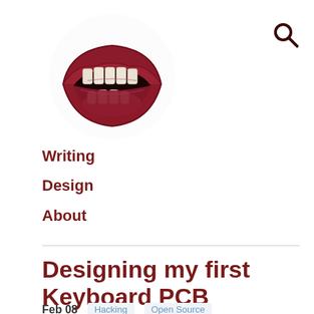[Figure (illustration): Illustration of an open mouth/lips with teeth showing, drawn in a realistic style with dark red/maroon lips]
[Figure (other): Search icon (magnifying glass) in dark maroon color]
Writing
Design
About
Designing my first Keyboard PCB
Feb 08
Hacking
Open Source